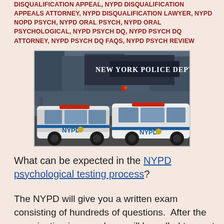DISQUALIFICATION APPEAL, NYPD DISQUALIFICATION APPEALS ATTORNEY, NYPD DISQUALIFICATION LAWYER, NYPD NOPD PSYCH, NYPD ORAL PSYCH, NYPD ORAL PSYCHOLOGICAL, NYPD PSYCH DQ, NYPD PSYCH DQ ATTORNEY, NYPD PSYCH DQ FAQS, NYPD PSYCH REVIEW
[Figure (photo): Two NYPD police SUVs parked in front of a building with a sign reading 'New York Police Dept' in Times Square area.]
What can be expected in the NYPD psychological testing process?
The NYPD will give you a written exam consisting of hundreds of questions.  After the examination is scored you will be called to meet with a NYPD